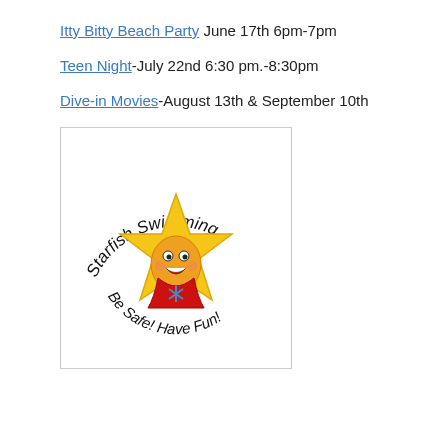Itty Bitty Beach Party June 17th 6pm-7pm
Teen Night-July 22nd 6:30 pm.-8:30pm
Dive-in Movies-August 13th & September 10th
[Figure (logo): Starfish Swimming logo: cartoon starfish character wearing a red lifeguard vest, with arched text 'Starfish Swimming' at top and 'Be Safe! Have Fun!' at bottom]